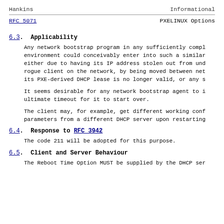Hankins                         Informational
RFC 5071                        PXELINUX Options
6.3.  Applicability
Any network bootstrap program in any sufficiently compl environment could conceivably enter into such a similar either due to having its IP address stolen out from und rogue client on the network, by being moved between net its PXE-derived DHCP lease is no longer valid, or any s
It seems desirable for any network bootstrap agent to i ultimate timeout for it to start over.
The client may, for example, get different working conf parameters from a different DHCP server upon restarting
6.4.  Response to RFC 3942
The code 211 will be adopted for this purpose.
6.5.  Client and Server Behaviour
The Reboot Time Option MUST be supplied by the DHCP ser